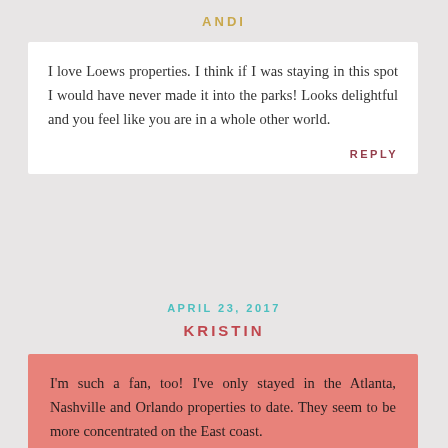ANDI
I love Loews properties. I think if I was staying in this spot I would have never made it into the parks! Looks delightful and you feel like you are in a whole other world.
REPLY
APRIL 23, 2017
KRISTIN
I'm such a fan, too! I've only stayed in the Atlanta, Nashville and Orlando properties to date. They seem to be more concentrated on the East coast.